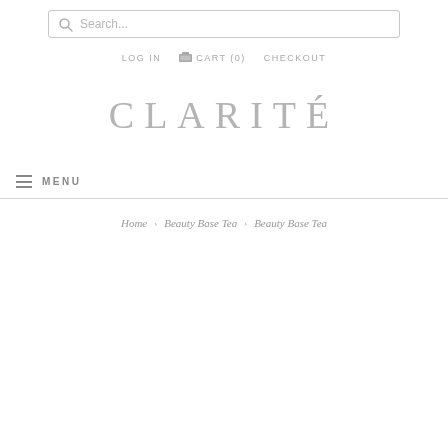[Figure (screenshot): Search bar with magnifying glass icon and placeholder text 'Search...']
LOG IN  CART (0)  CHECKOUT
CLARITÉ
≡ MENU
Home > Beauty Base Tea > Beauty Base Tea